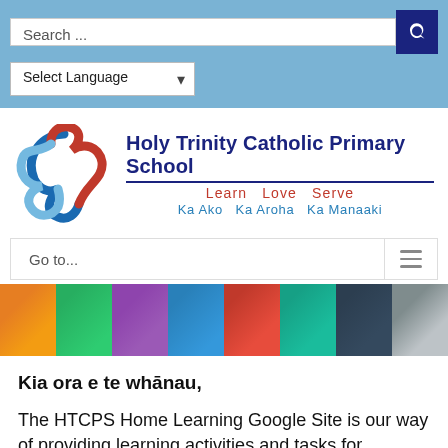[Figure (screenshot): Search bar with blue search button and language selector dropdown]
[Figure (logo): Holy Trinity Catholic Primary School logo with triquetra symbol in blue and red, school name in dark blue, motto 'Learn Love Serve' in red, and 'Ka Ako Ka Aroha Ka Manaaki' in light blue]
[Figure (screenshot): Navigation bar with 'Go to...' text and hamburger menu icon]
[Figure (photo): Photo strip showing 8 school photos including artwork, students in costumes, group photos, and events]
Kia ora e te whānau,
The HTCPS Home Learning Google Site is our way of providing learning activities and tasks for